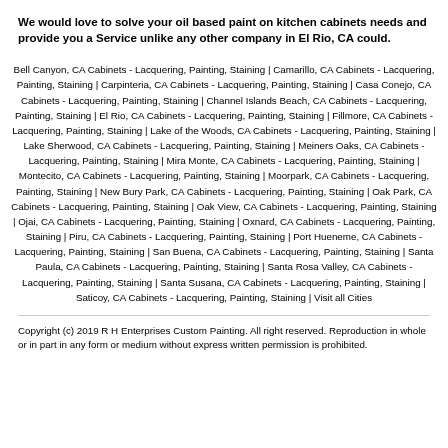We would love to solve your oil based paint on kitchen cabinets needs and provide you a Service unlike any other company in El Rio, CA could.
Bell Canyon, CA Cabinets - Lacquering, Painting, Staining | Camarillo, CA Cabinets - Lacquering, Painting, Staining | Carpinteria, CA Cabinets - Lacquering, Painting, Staining | Casa Conejo, CA Cabinets - Lacquering, Painting, Staining | Channel Islands Beach, CA Cabinets - Lacquering, Painting, Staining | El Rio, CA Cabinets - Lacquering, Painting, Staining | Fillmore, CA Cabinets - Lacquering, Painting, Staining | Lake of the Woods, CA Cabinets - Lacquering, Painting, Staining | Lake Sherwood, CA Cabinets - Lacquering, Painting, Staining | Meiners Oaks, CA Cabinets - Lacquering, Painting, Staining | Mira Monte, CA Cabinets - Lacquering, Painting, Staining | Montecito, CA Cabinets - Lacquering, Painting, Staining | Moorpark, CA Cabinets - Lacquering, Painting, Staining | New Bury Park, CA Cabinets - Lacquering, Painting, Staining | Oak Park, CA Cabinets - Lacquering, Painting, Staining | Oak View, CA Cabinets - Lacquering, Painting, Staining | Ojai, CA Cabinets - Lacquering, Painting, Staining | Oxnard, CA Cabinets - Lacquering, Painting, Staining | Piru, CA Cabinets - Lacquering, Painting, Staining | Port Hueneme, CA Cabinets - Lacquering, Painting, Staining | San Buena, CA Cabinets - Lacquering, Painting, Staining | Santa Paula, CA Cabinets - Lacquering, Painting, Staining | Santa Rosa Valley, CA Cabinets - Lacquering, Painting, Staining | Santa Susana, CA Cabinets - Lacquering, Painting, Staining | Saticoy, CA Cabinets - Lacquering, Painting, Staining | Visit all Cities
Copyright (c) 2019 R H Enterprises Custom Painting. All right reserved. Reproduction in whole or in part in any form or medium without express written permission is prohibited.